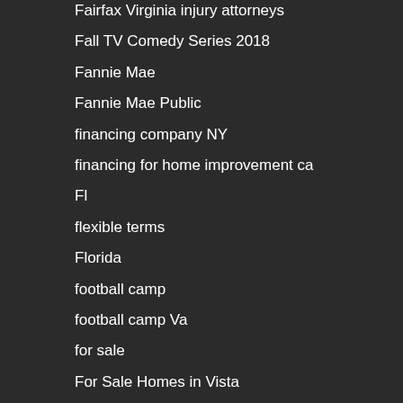Fairfax Virginia injury attorneys
Fall TV Comedy Series 2018
Fannie Mae
Fannie Mae Public
financing company NY
financing for home improvement ca
Fl
flexible terms
Florida
football camp
football camp Va
for sale
For Sale Homes in Vista
For Sale Homes in Vista Ca
For Sale Homes Vista
For Sale Homes Vista Ca
Foreclosure consequences